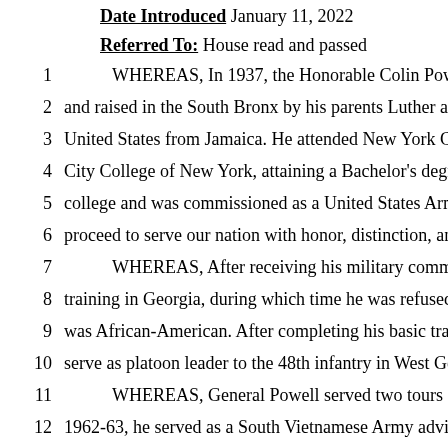Date Introduced: January 11, 2022
Referred To: House read and passed
1   WHEREAS, In 1937, the Honorable Colin Powell was born in
2   and raised in the South Bronx by his parents Luther and Maud Po
3   United States from Jamaica. He attended New York City public sc
4   City College of New York, attaining a Bachelor's degree in geolo
5   college and was commissioned as a United States Army second li
6   proceed to serve our nation with honor, distinction, and valor as a
7   WHEREAS, After receiving his military commission, General
8   training in Georgia, during which time he was refused service in b
9   was African-American. After completing his basic training at Fon
10  serve as platoon leader to the 48th infantry in West Germany; and
11  WHEREAS, General Powell served two tours of duty in Vietn
12  1962-63, he served as a South Vietnamese Army advisor and inju
13  Viet Cong held area when he stepped on a punji stake. In 1968, he